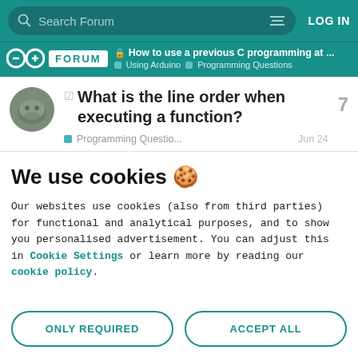Search Forum | LOG IN
FORUM | How to use a previous C programming at ... | Using Arduino > Programming Questions
What is the line order when executing a function?
Programming Questio... Jun 24 | 7 replies
We use cookies 🍪
Our websites use cookies (also from third parties) for functional and analytical purposes, and to show you personalised advertisement. You can adjust this in Cookie Settings or learn more by reading our cookie policy.
ONLY REQUIRED
ACCEPT ALL